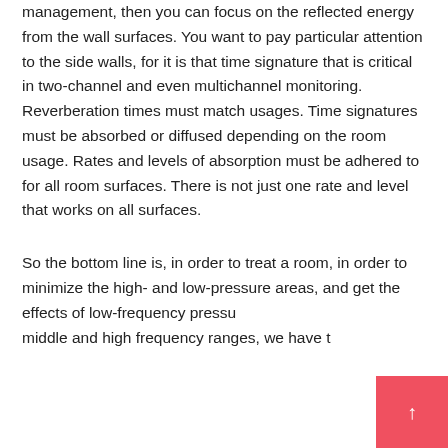management, then you can focus on the reflected energy from the wall surfaces. You want to pay particular attention to the side walls, for it is that time signature that is critical in two-channel and even multichannel monitoring. Reverberation times must match usages. Time signatures must be absorbed or diffused depending on the room usage. Rates and levels of absorption must be adhered to for all room surfaces. There is not just one rate and level that works on all surfaces.
So the bottom line is, in order to treat a room, in order to minimize the high- and low-pressure areas, and get the effects of low-frequency pressu middle and high frequency ranges, we have t